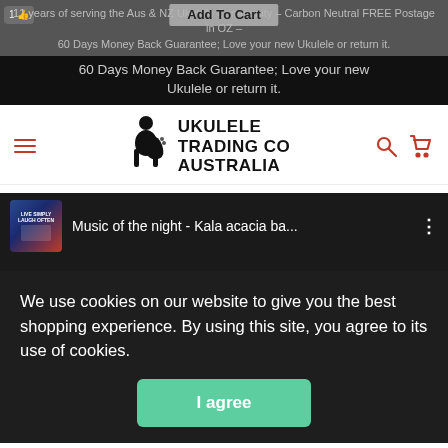Add To Cart
11 years of serving the Aus & NZ Ukulele Community – Carbon Neutral FREE Postage in OZ – 60 Days Money Back Guarantee; Love your new Ukulele or return it.
[Figure (logo): Ukulele Trading Co Australia logo with ukulele player silhouette]
[Figure (screenshot): Video thumbnail: Music of the night - Kala acacia ba...]
We use cookies on our website to give you the best shopping experience. By using this site, you agree to its use of cookies.
I agree